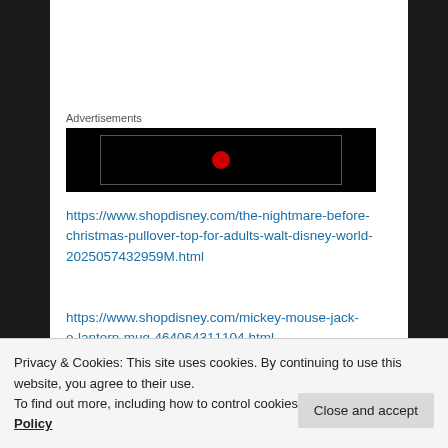Advertisements
[Figure (screenshot): Black advertisement block with a dark inner rectangle and a small red circle icon in the center]
https://www.shopdisney.com/the-nightmare-before-christmas-pullover-top-for-adults-walt-disney-world-2025057432959M.html
https://www.shopdisney.com/mickey-mouse-jack-o-lantern-mug-464064311104.html
Privacy & Cookies: This site uses cookies. By continuing to use this website, you agree to their use.
To find out more, including how to control cookies, see here: Cookie Policy
Close and accept
vacation, WDW